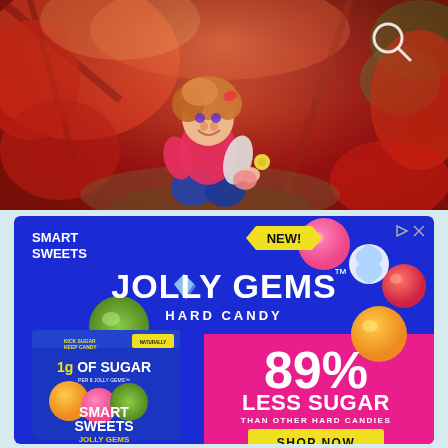[Figure (photo): A young toddler with curly reddish hair sitting outdoors surrounded by vibrant red foliage, smiling and holding flowers. A search (magnifying glass) icon is visible in the top-right corner of the photo.]
[Figure (infographic): Smart Sweets advertisement for Jolly Gems Hard Candy. Blue background with colorful candy pieces. Text reads: SMART SWEETS, NEW!, JOLLY GEMS TM HARD CANDY. Product bag shown on left with '1g OF SUGAR PER 8 JOLLY GEMS'. Pink section on right reads: 89% LESS SUGAR THAN OTHER HARD CANDIES. Yellow SHOP NOW button at bottom right. Ad indicator icons in top right.]